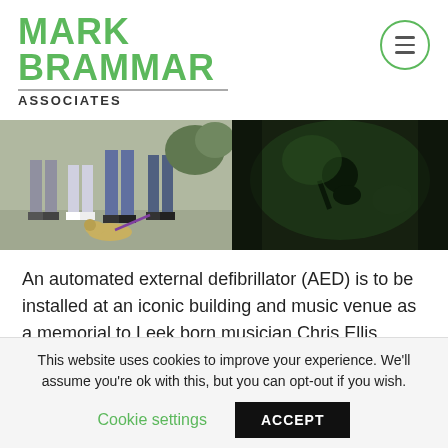MARK BRAMMAR ASSOCIATES
[Figure (photo): Two side-by-side photos: left shows lower half of people standing outdoors with a dog on a purple lead on a stone path; right shows a dark greenish image of a musician playing guitar at a music venue.]
An automated external defibrillator (AED) is to be installed at an iconic building and music venue as a memorial to Leek born musician Chris Ellis (pictured) who passed away earlier this
This website uses cookies to improve your experience. We'll assume you're ok with this, but you can opt-out if you wish.
Cookie settings   ACCEPT